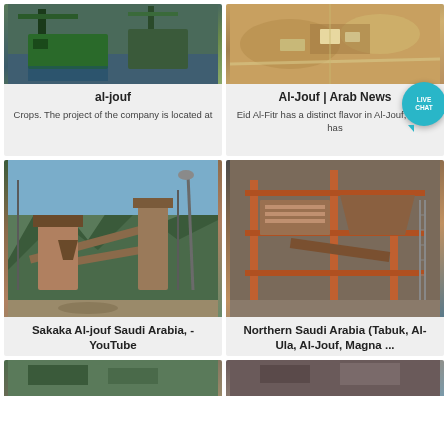[Figure (photo): Industrial crane/dredging equipment near water, with ACrusher logo overlay]
al-jouf
Crops. The project of the company is located at
[Figure (photo): Aerial view of industrial site with ACrusher logo overlay]
Al-Jouf | Arab News
Eid Al-Fitr has a distinct flavor in Al-Jouf, which has
[Figure (photo): Mining/crushing plant with conveyor belts and mountains in background, ACrusher logo]
Sakaka Al-jouf Saudi Arabia, - YouTube
Jun 24, 2020· সাকাকা আল-জউফ সৌদি আরব
[Figure (photo): Industrial crushing/screening plant with orange metal structure, ACrusher logo]
Northern Saudi Arabia (Tabuk, Al-Ula, Al-Jouf, Magna ...